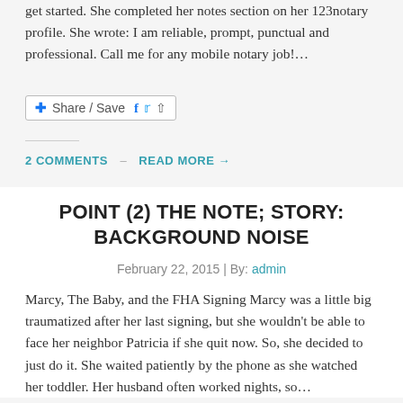get started. She completed her notes section on her 123notary profile. She wrote: I am reliable, prompt, punctual and professional. Call me for any mobile notary job!…
[Figure (other): Share / Save button with Facebook and Twitter icons]
2 COMMENTS  —  READ MORE →
POINT (2) THE NOTE; STORY: BACKGROUND NOISE
February 22, 2015 | By: admin
Marcy, The Baby, and the FHA Signing Marcy was a little big traumatized after her last signing, but she wouldn't be able to face her neighbor Patricia if she quit now. So, she decided to just do it. She waited patiently by the phone as she watched her toddler. Her husband often worked nights, so…